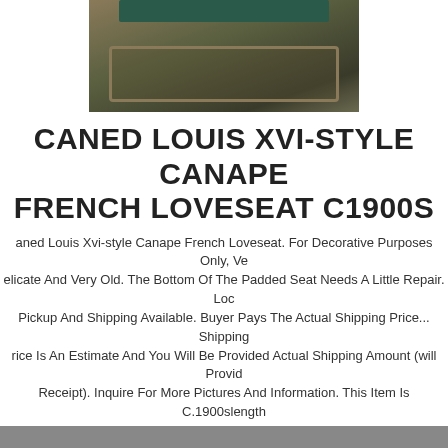[Figure (photo): Photo of a Caned Louis XVI-style Canape French Loveseat with green upholstery and ornate frame]
CANED LOUIS XVI-STYLE CANAPE FRENCH LOVESEAT C1900S
Caned Louis Xvi-style Canape French Loveseat. For Decorative Purposes Only, Ve Delicate And Very Old. The Bottom Of The Padded Seat Needs A Little Repair. Loc Pickup And Shipping Available. Buyer Pays The Actual Shipping Price... Shipping rice Is An Estimate And You Will Be Provided Actual Shipping Amount (will Provid Receipt). Inquire For More Pictures And Information. This Item Is C.1900slength 54height 38width 24
$3500.00
[Figure (photo): Partial photo visible at bottom of page]